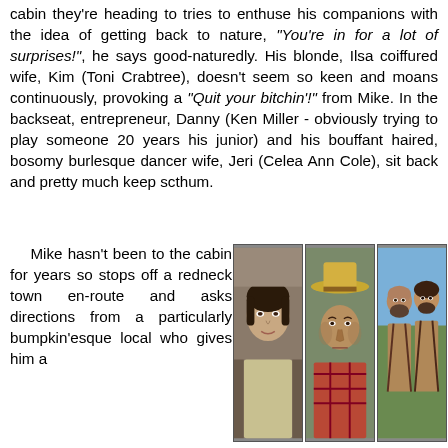cabin they're heading to tries to enthuse his companions with the idea of getting back to nature, "You're in for a lot of surprises!", he says good-naturedly. His blonde, Ilsa coiffured wife, Kim (Toni Crabtree), doesn't seem so keen and moans continuously, provoking a "Quit your bitchin'!" from Mike. In the backseat, entrepreneur, Danny (Ken Miller - obviously trying to play someone 20 years his junior) and his bouffant haired, bosomy burlesque dancer wife, Jeri (Celea Ann Cole), sit back and pretty much keep scthum.
Mike hasn't been to the cabin for years so stops off a redneck town en-route and asks directions from a particularly bumpkin'esque local who gives him a
[Figure (photo): Three film stills side by side: left shows a young dark-haired man in a car, center shows a man wearing a straw hat, right shows two shirtless rugged men outdoors.]